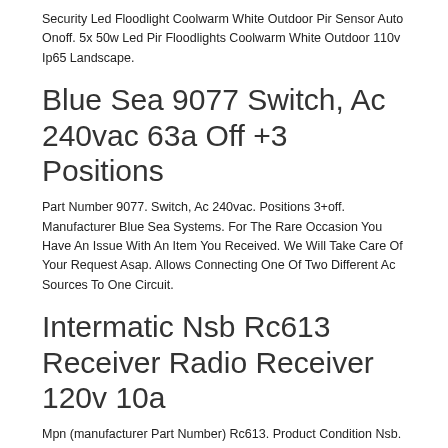Security Led Floodlight Coolwarm White Outdoor Pir Sensor Auto Onoff. 5x 50w Led Pir Floodlights Coolwarm White Outdoor 110v Ip65 Landscape.
Blue Sea 9077 Switch, Ac 240vac 63a Off +3 Positions
Part Number 9077. Switch, Ac 240vac. Positions 3+off. Manufacturer Blue Sea Systems. For The Rare Occasion You Have An Issue With An Item You Received. We Will Take Care Of Your Request Asap. Allows Connecting One Of Two Different Ac Sources To One Circuit.
Intermatic Nsb Rc613 Receiver Radio Receiver 120v 10a
Mpn (manufacturer Part Number) Rc613. Product Condition Nsb. Oem ,nsb, Nnb, Nwd, Andref. We Strive For Excellence And Will Do Anything In Our Power To Keep You Satisfied. We